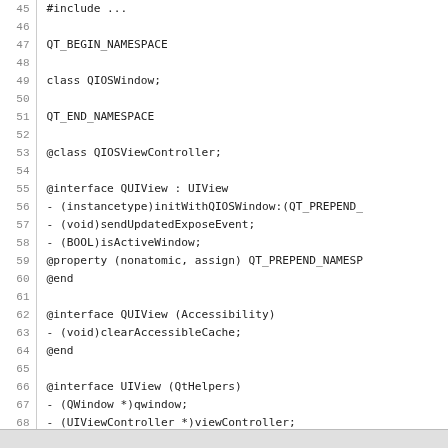Source code listing lines 45-72, showing QT namespace and Objective-C interface declarations for QUIView, QIOSViewController, and UIView categories.